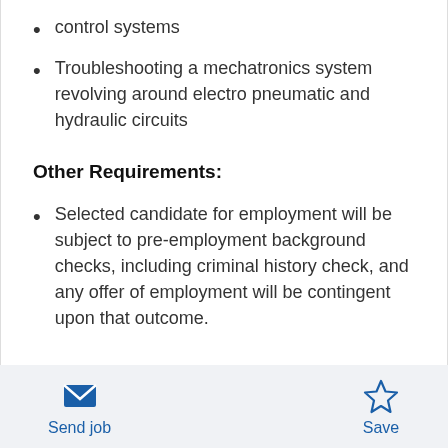control systems
Troubleshooting a mechatronics system revolving around electro pneumatic and hydraulic circuits
Other Requirements:
Selected candidate for employment will be subject to pre-employment background checks, including criminal history check, and any offer of employment will be contingent upon that outcome.
Send job  Save